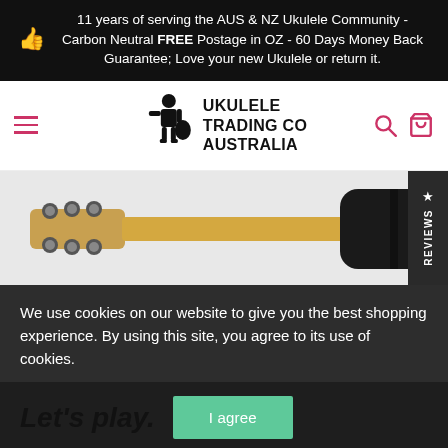11 years of serving the AUS & NZ Ukulele Community - Carbon Neutral FREE Postage in OZ - 60 Days Money Back Guarantee; Love your new Ukulele or return it.
[Figure (logo): Ukulele Trading Co Australia logo with stylized figure holding a ukulele, navigation bar with hamburger menu, search icon, and cart icon]
[Figure (photo): Back view of a ukulele showing the headstock with tuning pegs on a maple neck extending to a black body/case]
We use cookies on our website to give you the best shopping experience. By using this site, you agree to its use of cookies.
Let's play.
I agree